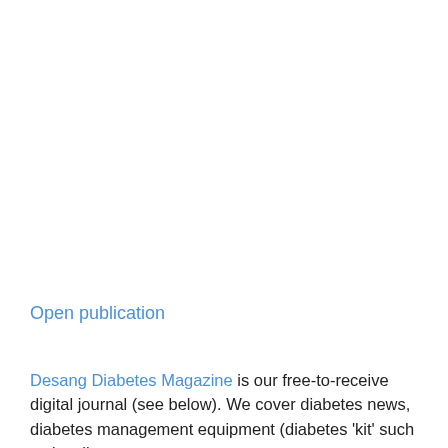Open publication
Desang Diabetes Magazine is our free-to-receive digital journal (see below). We cover diabetes news, diabetes management equipment (diabetes 'kit' such as insulin